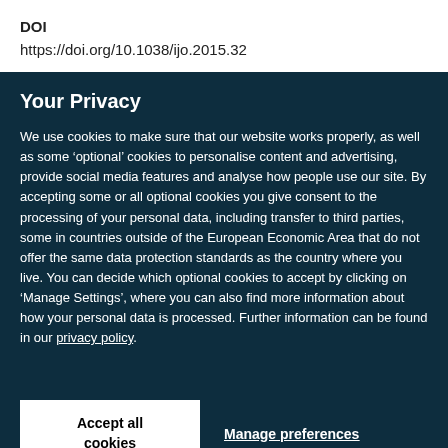DOI
https://doi.org/10.1038/ijo.2015.32
Your Privacy
We use cookies to make sure that our website works properly, as well as some ‘optional’ cookies to personalise content and advertising, provide social media features and analyse how people use our site. By accepting some or all optional cookies you give consent to the processing of your personal data, including transfer to third parties, some in countries outside of the European Economic Area that do not offer the same data protection standards as the country where you live. You can decide which optional cookies to accept by clicking on ‘Manage Settings’, where you can also find more information about how your personal data is processed. Further information can be found in our privacy policy.
Accept all cookies
Manage preferences